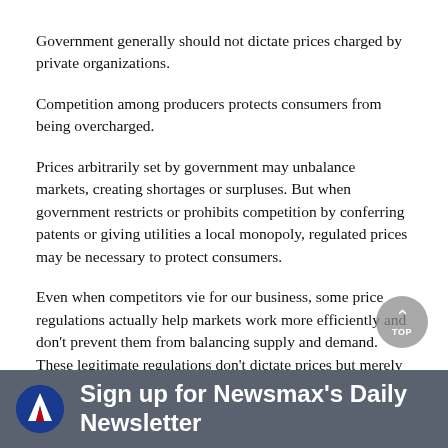Government generally should not dictate prices charged by private organizations.
Competition among producers protects consumers from being overcharged.
Prices arbitrarily set by government may unbalance markets, creating shortages or surpluses. But when government restricts or prohibits competition by conferring patents or giving utilities a local monopoly, regulated prices may be necessary to protect consumers.
Even when competitors vie for our business, some price regulations actually help markets work more efficiently and don't prevent them from balancing supply and demand. These legitimate regulations don't dictate prices but merely require complete honesty in telling possible customers what those prices will be.
Sign up for Newsmax's Daily Newsletter